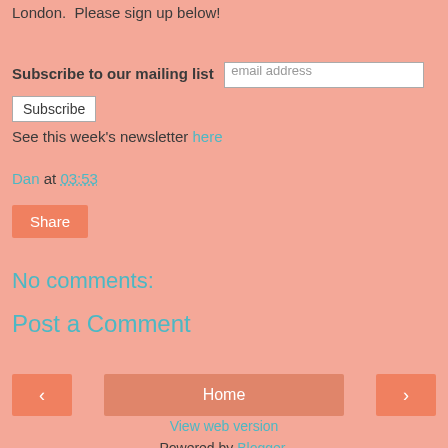London.  Please sign up below!
Subscribe to our mailing list [email address input] Subscribe
See this week's newsletter here
Dan at 03:53
Share
No comments:
Post a Comment
< Home >
View web version
Powered by Blogger.